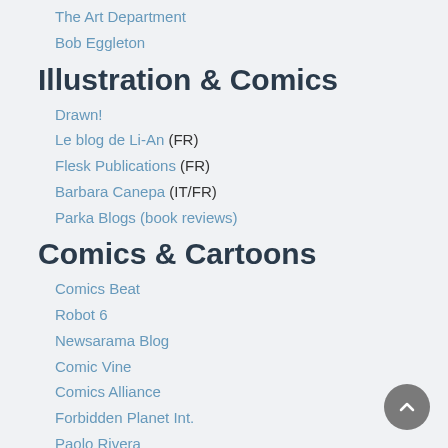The Art Department
Bob Eggleton
Illustration & Comics
Drawn!
Le blog de Li-An (FR)
Flesk Publications (FR)
Barbara Canepa (IT/FR)
Parka Blogs (book reviews)
Comics & Cartoons
Comics Beat
Robot 6
Newsarama Blog
Comic Vine
Comics Alliance
Forbidden Planet Int.
Paolo Rivera
Bolt City
Flight